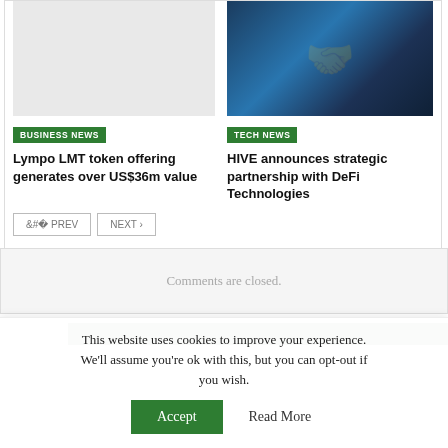[Figure (photo): Left article thumbnail - light gray placeholder image for Lympo LMT token article]
BUSINESS NEWS
Lympo LMT token offering generates over US$36m value
[Figure (photo): Right article thumbnail - tech image showing handshake with digital/network overlay in blue tones for HIVE article]
TECH NEWS
HIVE announces strategic partnership with DeFi Technologies
< PREV   NEXT >
Comments are closed.
This website uses cookies to improve your experience. We'll assume you're ok with this, but you can opt-out if you wish.
Accept   Read More